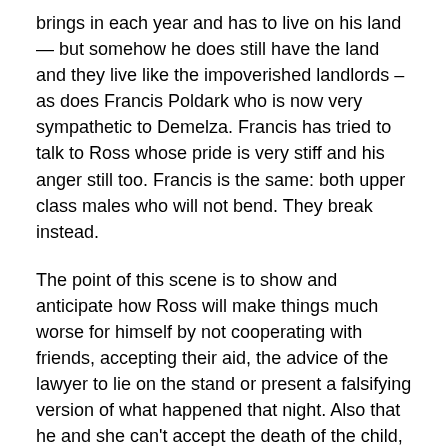brings in each year and has to live on his land — but somehow he does still have the land and they live like the impoverished landlords – as does Francis Poldark who is now very sympathetic to Demelza. Francis has tried to talk to Ross whose pride is very stiff and his anger still too. Francis is the same: both upper class males who will not bend. They break instead.
The point of this scene is to show and anticipate how Ross will make things much worse for himself by not cooperating with friends, accepting their aid, the advice of the lawyer to lie on the stand or present a falsifying version of what happened that night. Also that he and she can't accept the death of the child, Julia. I skip some of it with ellipses (as like many novels it goes on building up, lingeringly to make its effect)